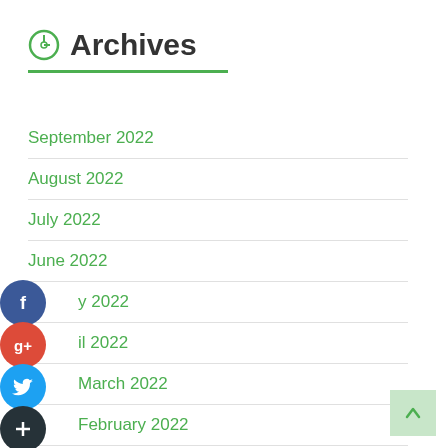Archives
September 2022
August 2022
July 2022
June 2022
May 2022
April 2022
March 2022
February 2022
January 2022
December 2021
November 2021